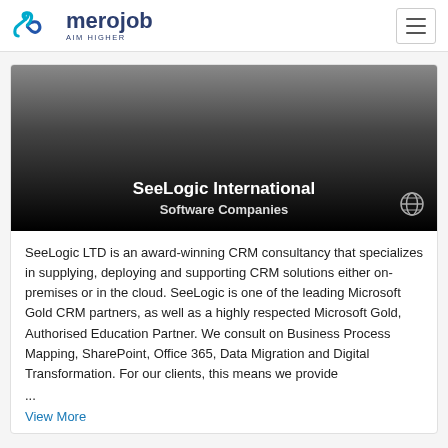merojob AIM HIGHER
[Figure (logo): SeeLogic International company banner with dark gradient background, company name and category text]
SeeLogic International
Software Companies
SeeLogic LTD is an award-winning CRM consultancy that specializes in supplying, deploying and supporting CRM solutions either on-premises or in the cloud. SeeLogic is one of the leading Microsoft Gold CRM partners, as well as a highly respected Microsoft Gold, Authorised Education Partner. We consult on Business Process Mapping, SharePoint, Office 365, Data Migration and Digital Transformation. For our clients, this means we provide
...
View More